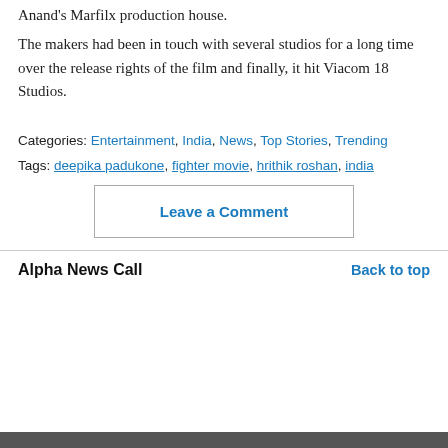Anand's Marfilx production house.
The makers had been in touch with several studios for a long time over the release rights of the film and finally, it hit Viacom 18 Studios.
Categories: Entertainment, India, News, Top Stories, Trending
Tags: deepika padukone, fighter movie, hrithik roshan, india
Leave a Comment
Alpha News Call  Back to top